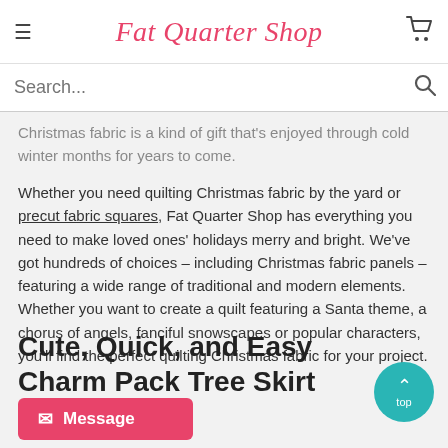Fat Quarter Shop
Search...
Christmas fabric is a kind of gift that's enjoyed through cold winter months for years to come.
Whether you need quilting Christmas fabric by the yard or precut fabric squares, Fat Quarter Shop has everything you need to make loved ones' holidays merry and bright. We've got hundreds of choices – including Christmas fabric panels – featuring a wide range of traditional and modern elements. Whether you want to create a quilt featuring a Santa theme, a chorus of angels, fanciful snowscapes or popular characters, you'll find the perfect quilting Christmas fabric for your project.
Cute, Quick, and Easy Charm Pack Tree Skirt Tutorial